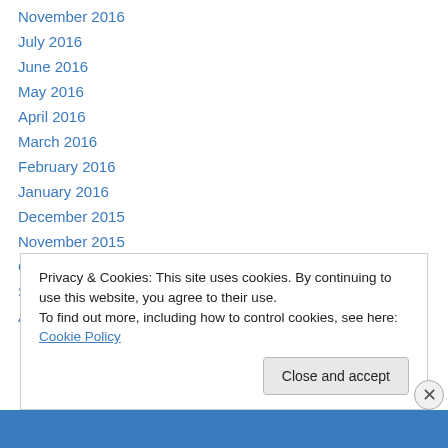November 2016
July 2016
June 2016
May 2016
April 2016
March 2016
February 2016
January 2016
December 2015
November 2015
October 2015
September 2015
August 2015
Privacy & Cookies: This site uses cookies. By continuing to use this website, you agree to their use. To find out more, including how to control cookies, see here: Cookie Policy
Close and accept